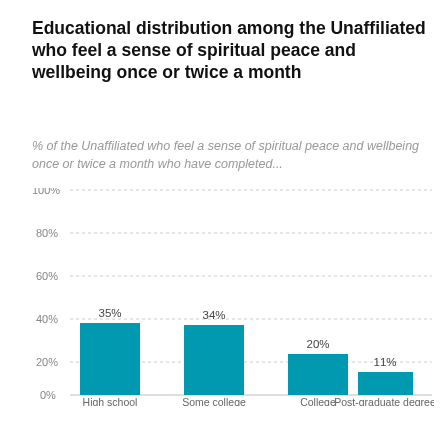Educational distribution among the Unaffiliated who feel a sense of spiritual peace and wellbeing once or twice a month
% of the Unaffiliated who feel a sense of spiritual peace and wellbeing once or twice a month who have completed...
[Figure (bar-chart): Educational distribution among the Unaffiliated who feel a sense of spiritual peace and wellbeing once or twice a month]